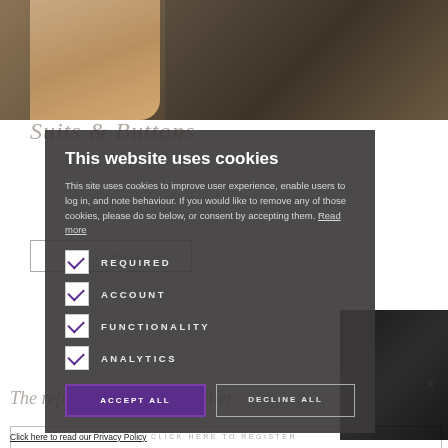[Figure (screenshot): Background website screenshot showing a suit/jacket with buttons photo, partially visible text and buttons behind a cookie consent overlay]
This website uses cookies
This site uses cookies to improve user experience, enable users to log in, and note behaviour. If you would like to remove any of those cookies, please do so below, or consent by accepting them. Read more
REQUIRED
ACCOUNT
FUNCTIONALITY
ANALYTICS
ACCEPT ALL
DECLINE ALL
Click here to read our Privacy Policy